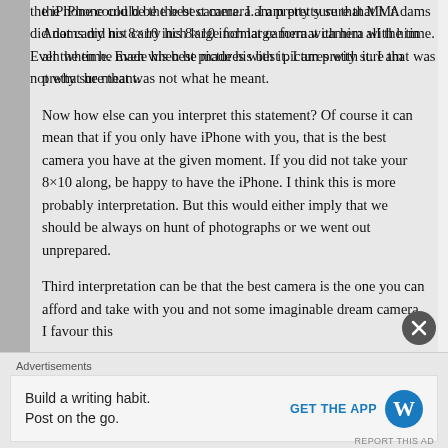the iPhone could be the best camera. I am pretty sure that Mr. Adams did not carry his 8×10 inch large format camera with him all the time. Even when he made his best pictures with it. I am pretty sure that was not what he meant.
Now how else can you interpret this statement? Of course it can mean that if you only have iPhone with you, that is the best camera you have at the given moment. If you did not take your 8×10 along, be happy to have the iPhone. I think this is more probably interpretation. But this would either imply that we should be always on hunt of photographs or we went out unprepared.
Third interpretation can be that the best camera is the one you can afford and take with you and not some imaginable dream camera. I favour this
Advertisements
Build a writing habit. Post on the go.  GET THE APP
REPORT THIS AD